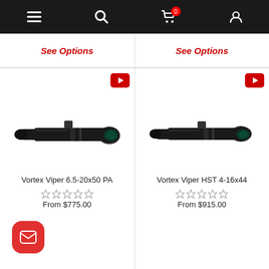[Figure (screenshot): Mobile app navigation bar with hamburger menu, search, cart (badge 0), and profile icons on dark background]
See Options
See Options
[Figure (photo): Vortex Viper 6.5-20x50 PA rifle scope, black, diagonal view]
[Figure (photo): Vortex Viper HST 4-16x44 rifle scope, black, diagonal view]
Vortex Viper 6.5-20x50 PA
Vortex Viper HST 4-16x44
From $775.00
From $915.00